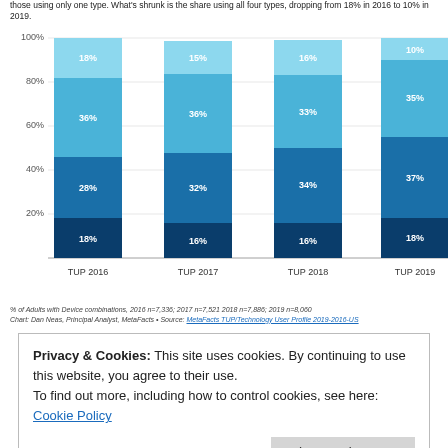those using only one type. What's shrunk is the share using all four types, dropping from 18% in 2016 to 10% in 2019.
[Figure (stacked-bar-chart): % of Adults with Device combinations]
% of Adults with Device combinations, 2016 n=7,336; 2017 n=7,521 2018 n=7,886; 2019 n=8,060
Chart: Dan Neas, Principal Analyst, MetaFacts • Source: MetaFacts TUP/Technology User Profile 2019-2016-US
Privacy & Cookies: This site uses cookies. By continuing to use this website, you agree to their use.
To find out more, including how to control cookies, see here: Cookie Policy